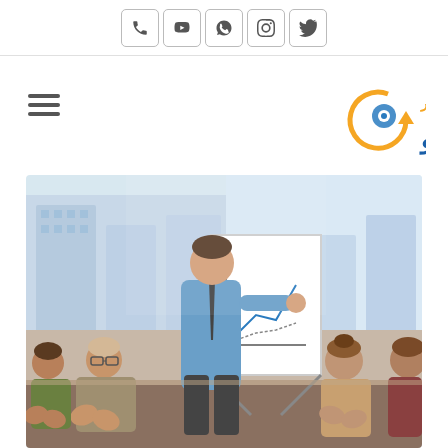Social media icon bar (phone, youtube, whatsapp, instagram, twitter)
[Figure (logo): Kasb-o-Kar Pishro logo in Persian/Arabic script with circular arrow icon, text in orange and blue]
[Figure (photo): Business presentation scene: man in blue shirt pointing at whiteboard with charts, audience of colleagues applauding at conference table, office building background]